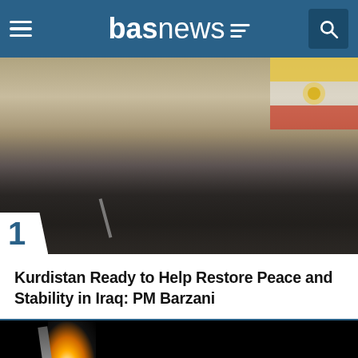basnews
[Figure (photo): Man in dark suit sitting at a desk with microphone, Kurdish flag visible in the background. Number badge '1' in bottom left corner.]
Kurdistan Ready to Help Restore Peace and Stability in Iraq: PM Barzani
[Figure (photo): Dark image showing a bright light or projectile against a black background, possibly a missile or rocket launch.]